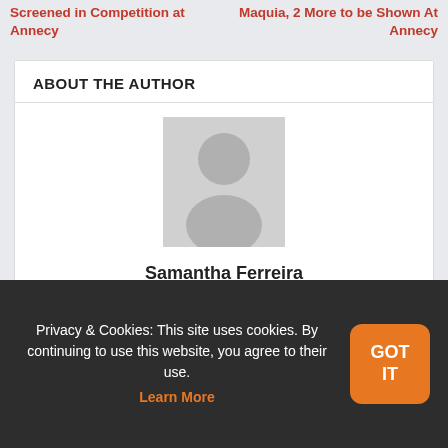Screened in Competition at Annecy
Maquia, 2 More to be Shown At Annecy
ABOUT THE AUTHOR
[Figure (illustration): Generic user avatar placeholder — grey silhouette of a person on a light grey background]
Samantha Ferreira
Samantha Ferreira is the editor-in-chief at Anime Herald. When she's not working at her day job, writing, or editing, she's usually shirking her work by
Privacy & Cookies: This site uses cookies. By continuing to use this website, you agree to their use. Learn More